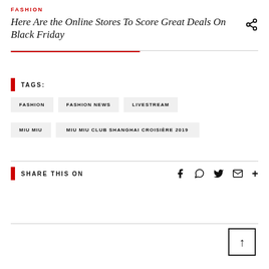FASHION
Here Are the Online Stores To Score Great Deals On Black Friday
TAGS:
FASHION
FASHION NEWS
LIVESTREAM
MIU MIU
MIU MIU CLUB SHANGHAI CROISIÈRE 2019
SHARE THIS ON